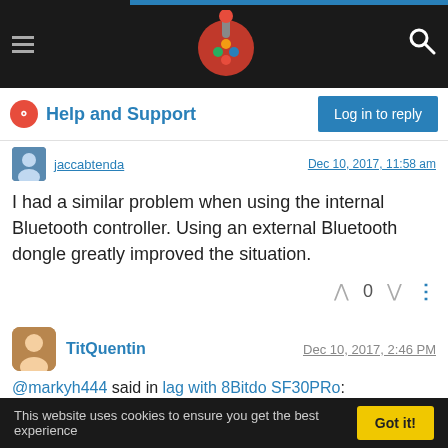Help and Support forum header with logo and search icon
Help and Support
jaccabtenda — Dec 10, 2017, 11:58 am
I had a similar problem when using the internal Bluetooth controller. Using an external Bluetooth dongle greatly improved the situation.
0 votes
TitQuentin — Dec 10, 2017, 2:46 PM
@markyh444 said in lag with 8Bitdo SF30PRo:
@titquentin I recall somebody else having a similar issue awhile back and it was due to the controller having low charge. Have you tried recharging it fully?
This website uses cookies to ensure you get the best experience